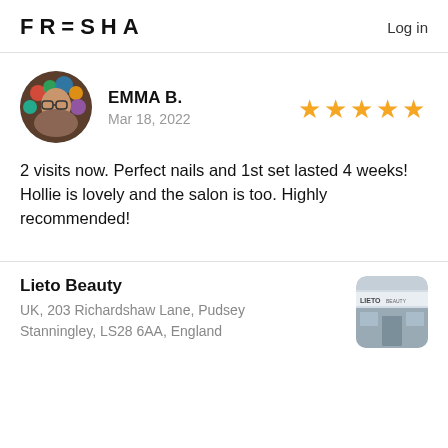FRESHA   Log in
[Figure (photo): Circular profile photo of Emma B. showing two people with colorful decorations in background]
EMMA B.
Mar 18, 2022
[Figure (other): Five gold star rating]
2 visits now. Perfect nails and 1st set lasted 4 weeks! Hollie is lovely and the salon is too. Highly recommended!
Lieto Beauty
UK, 203 Richardshaw Lane, Pudsey
Stanningley, LS28 6AA, England
[Figure (photo): Small thumbnail photo of Lieto Beauty salon storefront with LIETO BEAUTY text visible]